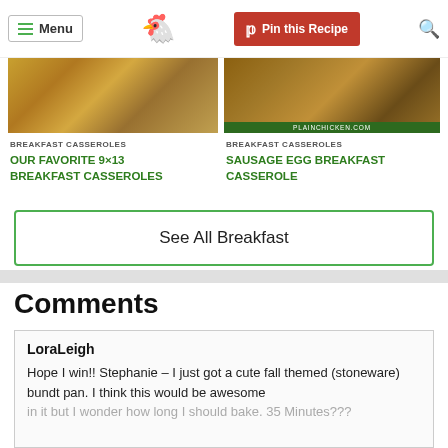Menu | [chicken logo] | Pin this Recipe | [search icon]
[Figure (photo): Food photo of breakfast casserole dish - left card]
BREAKFAST CASSEROLES
OUR FAVORITE 9×13 BREAKFAST CASSEROLES
[Figure (photo): Food photo of sausage egg breakfast casserole - right card, plainchicken.com watermark]
BREAKFAST CASSEROLES
SAUSAGE EGG BREAKFAST CASSEROLE
See All Breakfast
Comments
LoraLeigh
Hope I win!! Stephanie – I just got a cute fall themed (stoneware) bundt pan. I think this would be awesome in it but I wonder how long I should bake. 35 Minutes???